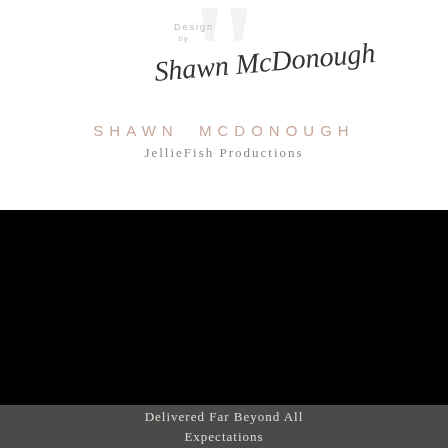[Figure (logo): Handwritten signature 'Design by Shawn McDonough' with large decorative quotation mark watermark in background]
SHAWN MCDONOUGH
JellieFish Productions
[Figure (photo): Solid black rectangle, likely a photo or dark image area]
Delivered Far Beyond All Expectations